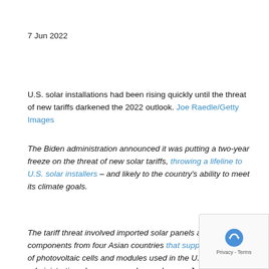7 Jun 2022
U.S. solar installations had been rising quickly until the threat of new tariffs darkened the 2022 outlook. Joe Raedle/Getty Images
The Biden administration announced it was putting a two-year freeze on the threat of new solar tariffs, throwing a lifeline to U.S. solar installers – and likely to the country's ability to meet its climate goals.
The tariff threat involved imported solar panels and components from four Asian countries that supply about 80% of photovoltaic cells and modules used in the U.S. The administration also announced new plans on Jun 2022, to use the Defense Production Act to help industries ramp up production of solar panels in the